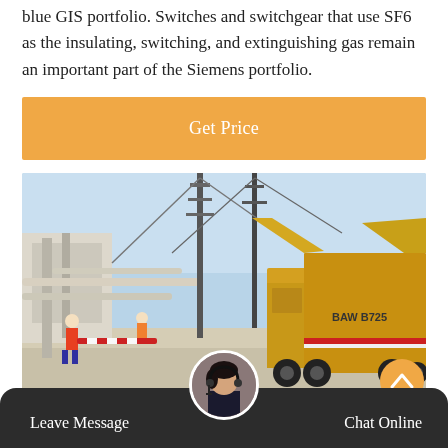blue GIS portfolio. Switches and switchgear that use SF6 as the insulating, switching, and extinguishing gas remain an important part of the Siemens portfolio.
Get Price
[Figure (photo): Electrical substation with high-voltage equipment, transmission towers, pipes and a yellow utility truck (marked BAW B725) on site, with workers visible.]
Leave Message
Chat Online